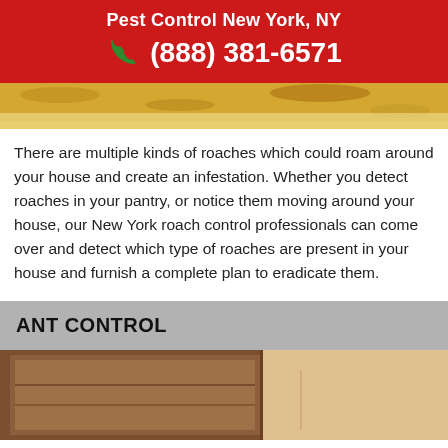Pest Control New York, NY
(888) 381-6571
[Figure (photo): Close-up photo of roaches/infestation on a surface, partially visible at top of page]
There are multiple kinds of roaches which could roam around your house and create an infestation. Whether you detect roaches in your pantry, or notice them moving around your house, our New York roach control professionals can come over and detect which type of roaches are present in your house and furnish a complete plan to eradicate them.
ANT CONTROL
[Figure (photo): Photo showing cardboard boxes and wooden surface, likely depicting ant infestation scenario]